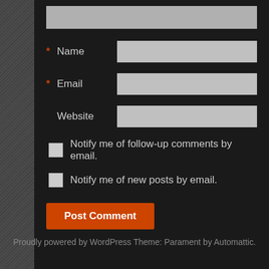[Figure (screenshot): Top gray bar area of a comment form]
* Name [input field]
* Email [input field]
Website [input field]
[ ] Notify me of follow-up comments by email.
[ ] Notify me of new posts by email.
Post Comment
Proudly powered by WordPress Theme: Parament by Automattic.